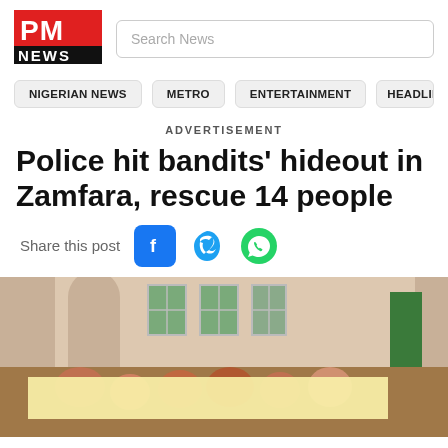[Figure (logo): PM NEWS logo — red block letters PM above black block NEWS]
Search News
NIGERIAN NEWS
METRO
ENTERTAINMENT
HEADLIN
ADVERTISEMENT
Police hit bandits' hideout in Zamfara, rescue 14 people
Share this post
[Figure (photo): Photo of people sitting in front of a building with windows, with a yellow blurred rectangle overlay in the foreground]